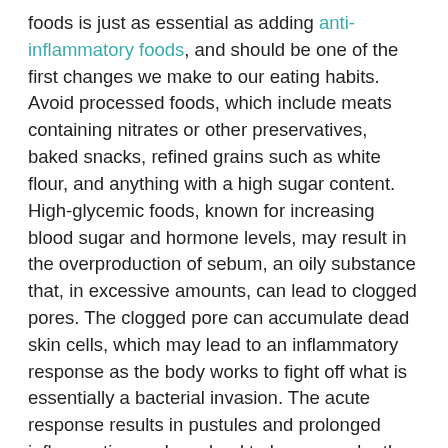foods is just as essential as adding anti-inflammatory foods, and should be one of the first changes we make to our eating habits. Avoid processed foods, which include meats containing nitrates or other preservatives, baked snacks, refined grains such as white flour, and anything with a high sugar content. High-glycemic foods, known for increasing blood sugar and hormone levels, may result in the overproduction of sebum, an oily substance that, in excessive amounts, can lead to clogged pores. The clogged pore can accumulate dead skin cells, which may lead to an inflammatory response as the body works to fight off what is essentially a bacterial invasion. The acute response results in pustules and prolonged inflammation and can lead to bumps under the skin called cystic acne.
5 Skin-Saving Sides For Holiday Meals
It's not uncommon knowledge that dairy, gluten, trans fats, and sugar, among other culprits, can lead to changes in the body.